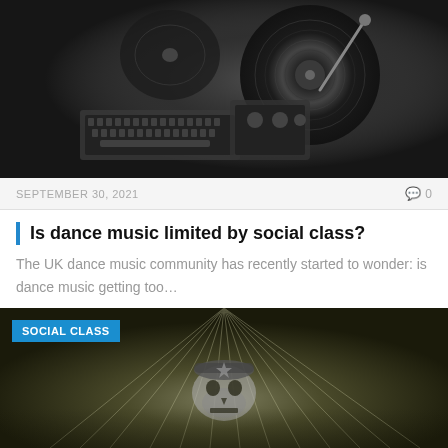[Figure (photo): Black and white photo of DJ turntables, vinyl records and a laptop keyboard viewed from above]
SEPTEMBER 30, 2021
0
Is dance music limited by social class?
The UK dance music community has recently started to wonder: is dance music getting too…
[Figure (illustration): Dark illustration with skull wearing beret, dramatic rays in background, with SOCIAL CLASS badge overlay]